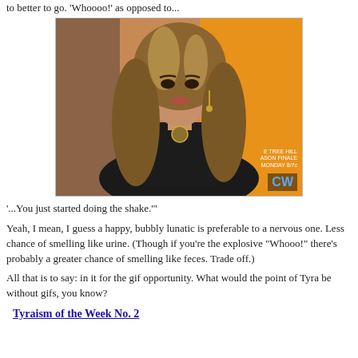to better to go. 'Whoooo!' as opposed to...
[Figure (photo): TV screenshot of a woman with long wavy highlighted hair wearing a black outfit and a medallion necklace, with an orange/warm background. CW network logo visible in bottom right corner.]
'...You just started doing the shake.'"
Yeah, I mean, I guess a happy, bubbly lunatic is preferable to a nervous one. Less chance of smelling like urine. (Though if you're the explosive "Whooo!" there's probably a greater chance of smelling like feces. Trade off.)
All that is to say: in it for the gif opportunity. What would the point of Tyra be without gifs, you know?
Tyraism of the Week No. 2